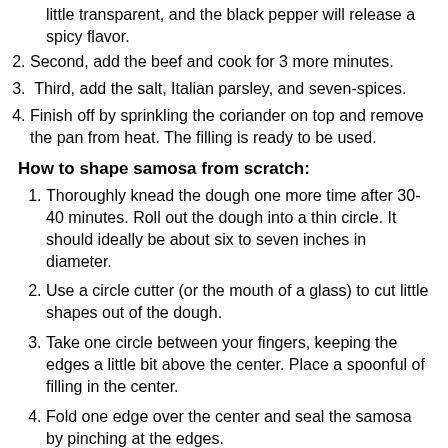little transparent, and the black pepper will release a spicy flavor.
Second, add the beef and cook for 3 more minutes.
Third, add the salt, Italian parsley, and seven-spices.
Finish off by sprinkling the coriander on top and remove the pan from heat. The filling is ready to be used.
How to shape samosa from scratch:
Thoroughly knead the dough one more time after 30-40 minutes. Roll out the dough into a thin circle. It should ideally be about six to seven inches in diameter.
Use a circle cutter (or the mouth of a glass) to cut little shapes out of the dough.
Take one circle between your fingers, keeping the edges a little bit above the center. Place a spoonful of filling in the center.
Fold one edge over the center and seal the samosa by pinching at the edges.